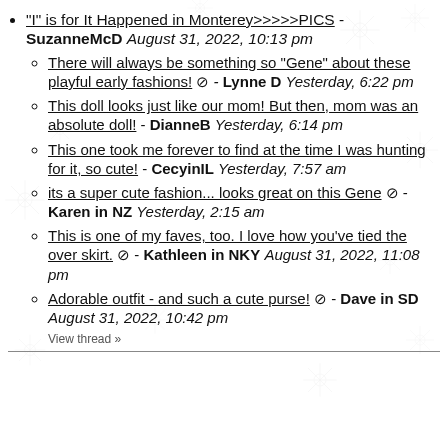"I" is for It Happened in Monterey>>>>>PICS - SuzanneMcD August 31, 2022, 10:13 pm
There will always be something so "Gene" about these playful early fashions! 🖊 - Lynne D Yesterday, 6:22 pm
This doll looks just like our mom! But then, mom was an absolute doll! - DianneB Yesterday, 6:14 pm
This one took me forever to find at the time I was hunting for it, so cute! - CecyinIL Yesterday, 7:57 am
its a super cute fashion... looks great on this Gene 🖊 - Karen in NZ Yesterday, 2:15 am
This is one of my faves, too. I love how you've tied the over skirt. 🖊 - Kathleen in NKY August 31, 2022, 11:08 pm
Adorable outfit - and such a cute purse! 🖊 - Dave in SD August 31, 2022, 10:42 pm
View thread »